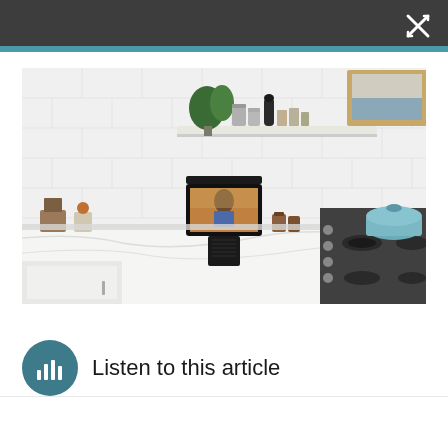[Figure (screenshot): Dark gray top navigation bar with a white close/resize icon (X with arrows) in the top-right corner, and a teal horizontal stripe below it.]
[Figure (photo): Kitchen scene with white subway tile backsplash, marble countertop, shelves with plants and metal canisters, a Facebook Portal smart display device mounted on a stand in the center showing a video call with a woman cooking, and a gas range stove with a blue dutch oven on the right.]
Listen to this article